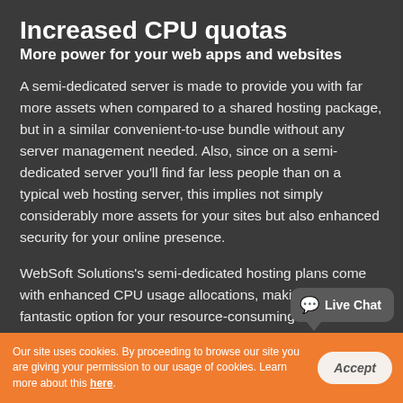Increased CPU quotas
More power for your web apps and websites
A semi-dedicated server is made to provide you with far more assets when compared to a shared hosting package, but in a similar convenient-to-use bundle without any server management needed. Also, since on a semi-dedicated server you’ll find far less people than on a typical web hosting server, this implies not simply considerably more assets for your sites but also enhanced security for your online presence.
WebSoft Solutions’s semi-dedicated hosting plans come with enhanced CPU usage allocations, making them a fantastic option for your resource-consuming sites and
[Figure (other): Live Chat speech bubble widget in dark gray with chat icon]
Our site uses cookies. By proceeding to browse our site you are giving your permission to our usage of cookies. Learn more about this here.